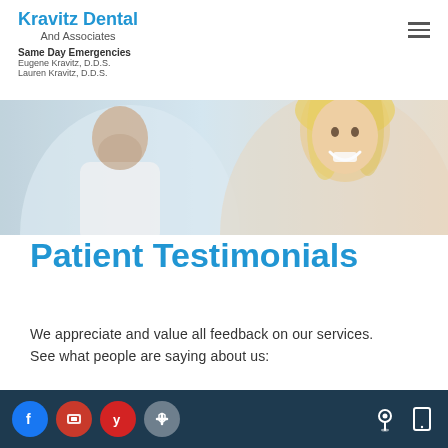Kravitz Dental And Associates
Same Day Emergencies
Eugene Kravitz, D.D.S.
Lauren Kravitz, D.D.S.
[Figure (photo): Dental office hero image showing a smiling female patient and a male dentist in white coat]
Patient Testimonials
We appreciate and value all feedback on our services. See what people are saying about us:
[Figure (other): Five gold star rating icons]
Social media icons: Facebook, Google, Yelp, Healthgrades; Location and phone icons